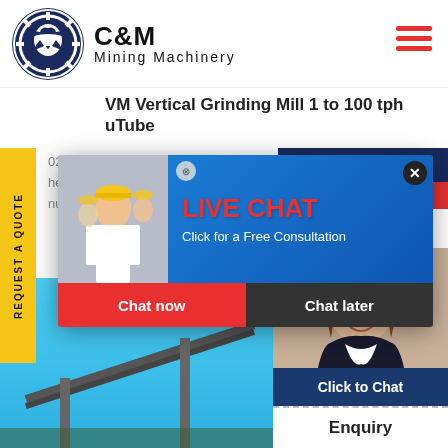[Figure (logo): C&M Mining Machinery logo with eagle in gear circle on dark navy background]
VM Vertical Grinding Mill 1 to 100 tph uTube
02, 2013 ... ktefid is one he mode ... nufactu ...
[Figure (screenshot): Live Chat popup overlay with workers in hard hats, LIVE CHAT heading in red, Click for a Free Consultation text, Chat now and Chat later buttons]
[Figure (photo): Customer service agent with headset smiling, Click to Chat box and Enquiry bar below]
[Figure (photo): Blue sky background with mining machinery conveyor belt]